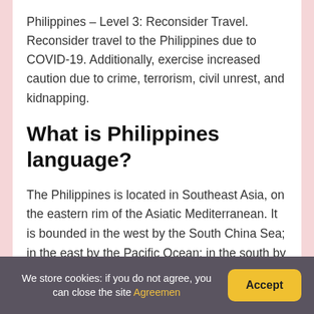Philippines – Level 3: Reconsider Travel. Reconsider travel to the Philippines due to COVID-19. Additionally, exercise increased caution due to crime, terrorism, civil unrest, and kidnapping.
What is Philippines language?
The Philippines is located in Southeast Asia, on the eastern rim of the Asiatic Mediterranean. It is bounded in the west by the South China Sea; in the east by the Pacific Ocean; in the south by the
We store cookies: if you do not agree, you can close the site Agreemen